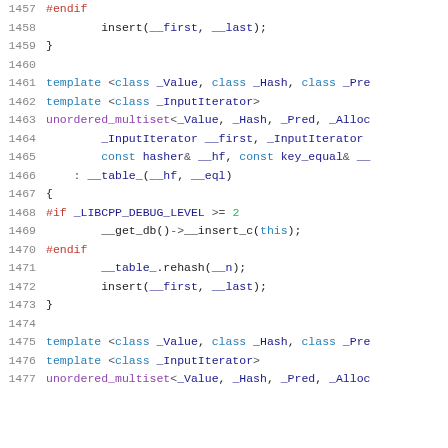Code listing lines 1457-1477: C++ source code for unordered_multiset constructors with preprocessor debug guards